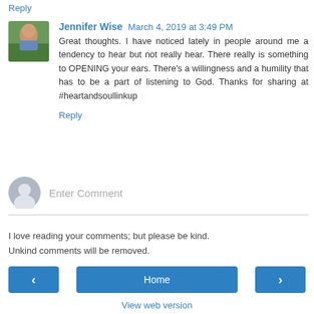Reply
Jennifer Wise  March 4, 2019 at 3:49 PM
Great thoughts. I have noticed lately in people around me a tendency to hear but not really hear. There really is something to OPENING your ears. There's a willingness and a humility that has to be a part of listening to God. Thanks for sharing at #heartandsoullinkup
Reply
Enter Comment
I love reading your comments; but please be kind.
Unkind comments will be removed.
< Home >
View web version